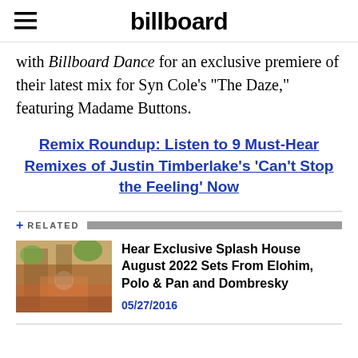billboard
with Billboard Dance for an exclusive premiere of their latest mix for Syn Cole's “The Daze,” featuring Madame Buttons.
Remix Roundup: Listen to 9 Must-Hear Remixes of Justin Timberlake’s ‘Can’t Stop the Feeling’ Now
+ RELATED
Hear Exclusive Splash House August 2022 Sets From Elohim, Polo & Pan and Dombresky
05/27/2016